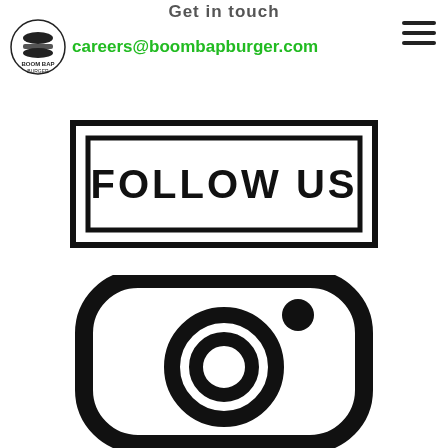Get in touch
careers@boombapburger.com
[Figure (logo): Boom Bap Burger logo with burger icon and text]
[Figure (illustration): Hamburger menu icon (three horizontal lines)]
[Figure (illustration): FOLLOW US button with double border rectangle and bold handwritten-style text]
[Figure (illustration): Instagram icon - camera outline with lens circle and viewfinder dot, black outline on white]